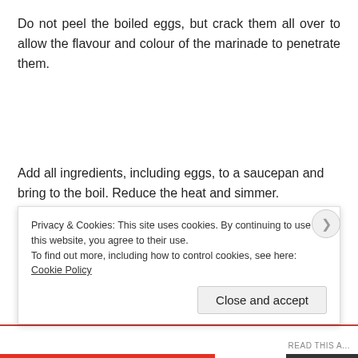Do not peel the boiled eggs, but crack them all over to allow the flavour and colour of the marinade to penetrate them.
Add all ingredients, including eggs, to a saucepan and bring to the boil. Reduce the heat and simmer.
I simmer the eggs for about 30 minutes and then I let them sit in the marinade for another 12-18 hours. The longer you leave t... [truncated by cookie overlay]
Privacy & Cookies: This site uses cookies. By continuing to use this website, you agree to their use.
To find out more, including how to control cookies, see here: Cookie Policy
Close and accept